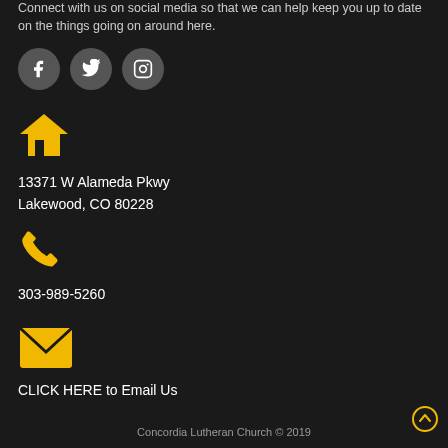Connect with us on social media so that we can help keep you up to date on the things going on around here.
[Figure (illustration): Three dark grey circular social media icons: Facebook (f), Twitter (bird), Instagram (camera)]
[Figure (illustration): Yellow house icon]
13371 W Alameda Pkwy
Lakewood, CO 80228
[Figure (illustration): Yellow phone icon]
303-989-5260
[Figure (illustration): Yellow envelope/email icon]
CLICK HERE to Email Us
Concordia Lutheran Church © 2019